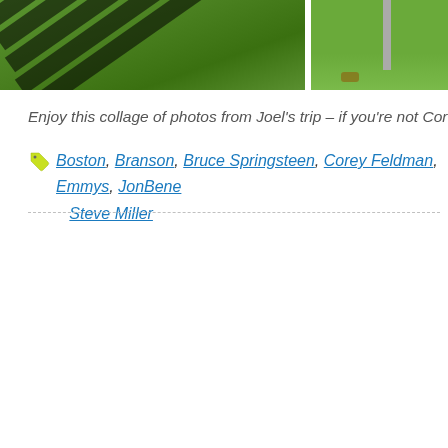[Figure (photo): Two cropped photos side by side: left photo shows aerial/angled view of green grass with diagonal dark shadow stripes; right photo shows grass with a metal post/sign]
Enjoy this collage of photos from Joel's trip – if you're not Corey
Boston, Branson, Bruce Springsteen, Corey Feldman, Emmys, JonBene... Steve Miller